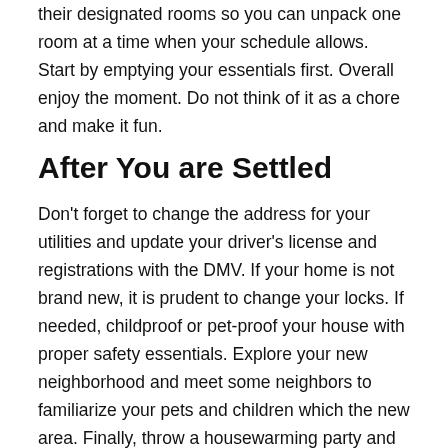their designated rooms so you can unpack one room at a time when your schedule allows. Start by emptying your essentials first. Overall enjoy the moment. Do not think of it as a chore and make it fun.
After You are Settled
Don't forget to change the address for your utilities and update your driver's license and registrations with the DMV. If your home is not brand new, it is prudent to change your locks. If needed, childproof or pet-proof your house with proper safety essentials. Explore your new neighborhood and meet some neighbors to familiarize your pets and children which the new area. Finally, throw a housewarming party and start relaxing in your new home.
Motes & Bounds Title, a Division of Land Castle